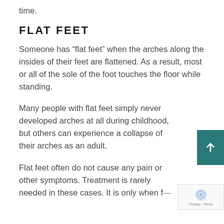time.
FLAT FEET
Someone has “flat feet” when the arches along the insides of their feet are flattened. As a result, most or all of the sole of the foot touches the floor while standing.
Many people with flat feet simply never developed arches at all during childhood, but others can experience a collapse of their arches as an adult.
Flat feet often do not cause any pain or other symptoms. Treatment is rarely needed in these cases. It is only when f—